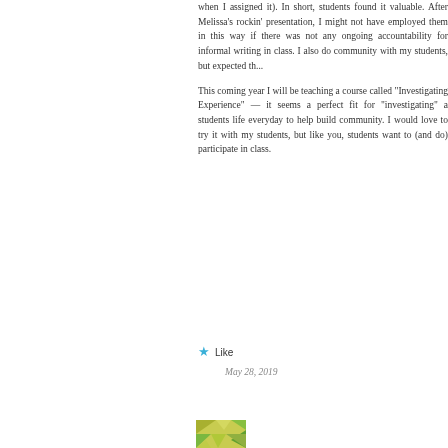when I assigned it). In short, students found it valuable. After Melissa's rockin' presentation, I might not have employed them in this way if there was not any ongoing accountability for informal writing in class. I also do community with my students, but expected th...
This coming year I will be teaching a course called "Investigating Experience" — it seems a perfect fit for "investigating" a students life everyday to help build community. I would love to try it with my students, but like you, students want to (and do) participate in class.
Like
May 28, 2019
[Figure (illustration): Partial avatar image visible at bottom of page showing a colorful mosaic/geometric pattern in yellow and teal tones]